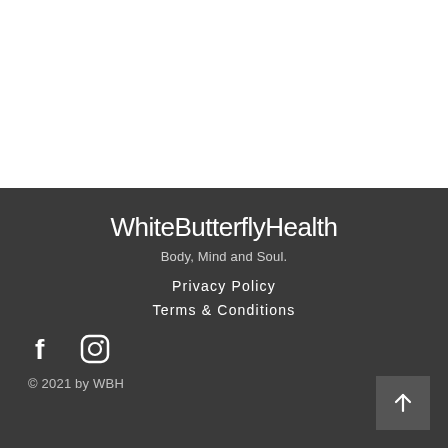WhiteButterflyHealth
Body, Mind and Soul.
Privacy Policy
Terms & Conditions
[Figure (illustration): Social media icons: Facebook (f) and Instagram (camera) icons in white on dark background]
© 2021 by WBH